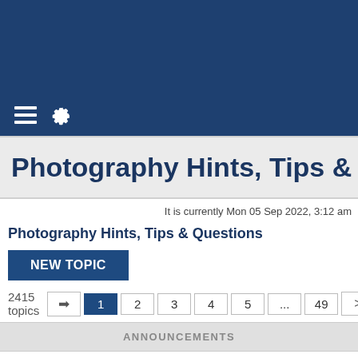[Figure (screenshot): Dark blue banner at top of forum page]
[Figure (screenshot): Navigation bar with hamburger menu and gear icon]
Photography Hints, Tips & Que
It is currently Mon 05 Sep 2022, 3:12 am
Photography Hints, Tips & Questions
NEW TOPIC
2415 topics  1 2 3 4 5 ... 49 >
ANNOUNCEMENTS
Hosting and Posting Pictures
Last post by LN Strike Eagle «Wed 09 Aug 2017, 8:49 pm